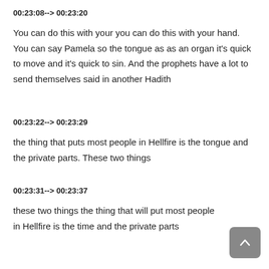00:23:08--> 00:23:20
You can do this with your you can do this with your hand. You can say Pamela so the tongue as as an organ it's quick to move and it's quick to sin. And the prophets have a lot to send themselves said in another Hadith
00:23:22--> 00:23:29
the thing that puts most people in Hellfire is the tongue and the private parts. These two things
00:23:31--> 00:23:37
these two things the thing that will put most people in Hellfire is the time and the private parts